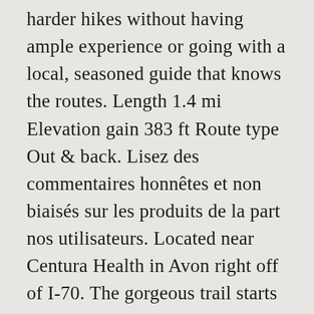harder hikes without having ample experience or going with a local, seasoned guide that knows the routes. Length 1.4 mi Elevation gain 383 ft Route type Out & back. Lisez des commentaires honnêtes et non biaisés sur les produits de la part nos utilisateurs. Located near Centura Health in Avon right off of I-70. The gorgeous trail starts off steep, but it quickly (after roughly 1.6 km) levels out.Gradually, the trail ascends the valley, past two waterfalls, to the stunning lake that sits below East and West Partner (two 3960 m peaks). Hiking Booth Falls Trail to Booth Lake. Hiking Trails Near Vail. Click here for directions. Here are three accessible, half-day options for Vail hiking this summer. Once the